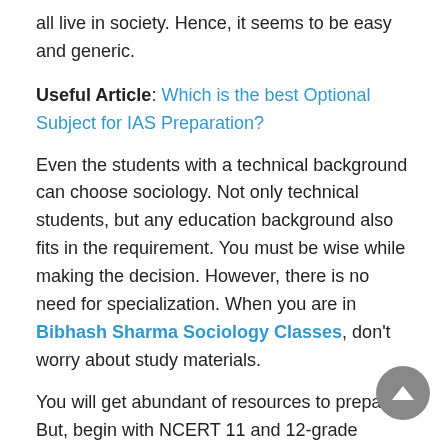all live in society. Hence, it seems to be easy and generic.
Useful Article: Which is the best Optional Subject for IAS Preparation?
Even the students with a technical background can choose sociology. Not only technical students, but any education background also fits in the requirement. You must be wise while making the decision. However, there is no need for specialization. When you are in Bibhash Sharma Sociology Classes, don't worry about study materials.
You will get abundant of resources to prepare. But, begin with NCERT 11 and 12-grade books. It has proved to be a good start. Above all, it is impossible to get the least score in this subject. Suppose you have not completed the syllabus. Still, you can make up the answers and perform well in the exam. The chances of getting zero marks are nil